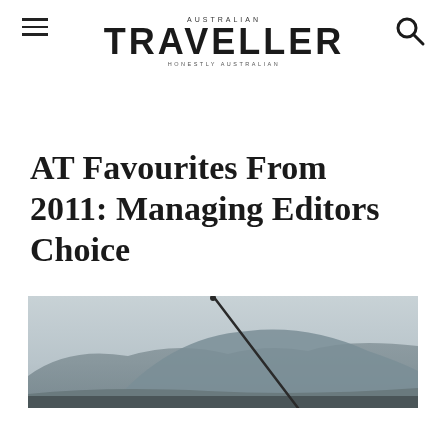AUSTRALIAN TRAVELLER — HONESTLY AUSTRALIAN
AT Favourites From 2011: Managing Editors Choice
[Figure (photo): Outdoor landscape photo showing a mountain or hill in the background with overcast sky, a fishing rod or pole visible diagonally in the foreground, and water or shoreline at the base.]